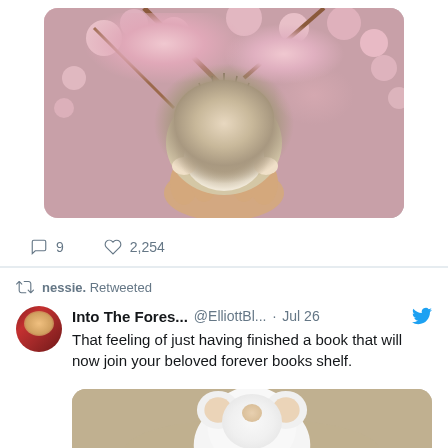[Figure (photo): A hedgehog being held in a hand in front of pink cherry blossom flowers]
9   2,254
nessie. Retweeted
Into The Fores... @ElliottBl... · Jul 26
That feeling of just having finished a book that will now join your beloved forever books shelf.
[Figure (photo): A white fluffy mouse/hamster toy or stuffed animal]